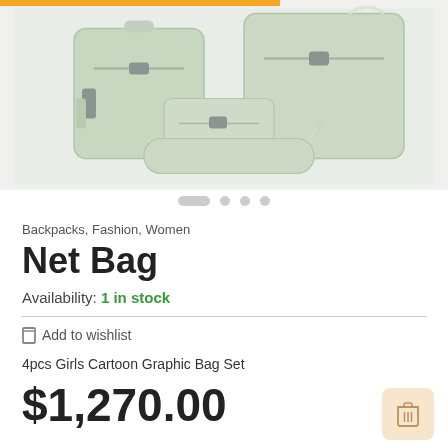[Figure (photo): Product photo of a light green/mint 4-piece bag set including a backpack, a shoulder bag, a small pouch, and a pencil case, displayed on a light gray background with an orange bar at the top.]
Backpacks, Fashion, Women
Net Bag
Availability: 1 in stock
Add to wishlist
4pcs Girls Cartoon Graphic Bag Set
$1,270.00